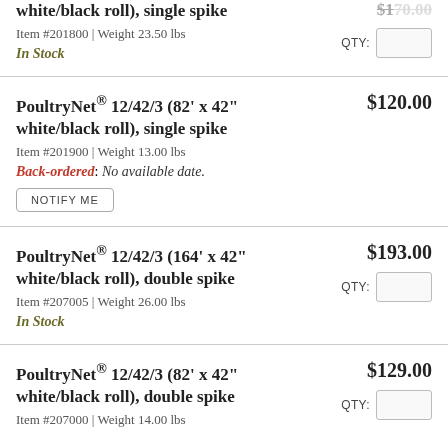PoultryNet® 12/42/3 (164' x 42" white/black roll), single spike — Item #201800 | Weight 23.50 lbs — In Stock — $170.00 (partial)
PoultryNet® 12/42/3 (82' x 42" white/black roll), single spike — Item #201900 | Weight 13.00 lbs — Back-ordered: No available date. — NOTIFY ME — $120.00
PoultryNet® 12/42/3 (164' x 42" white/black roll), double spike — Item #207005 | Weight 26.00 lbs — In Stock — $193.00
PoultryNet® 12/42/3 (82' x 42" white/black roll), double spike — Item #207000 | Weight 14.00 lbs — $129.00 (partial)